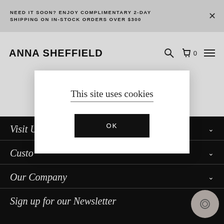NEED IT SOON? ENJOY COMPLIMENTARY 2-DAY SHIPPING ON IN-STOCK ORDERS OVER $300
ANNA SHEFFIELD
This site uses cookies
OK
Visit Us
Customer Service
Our Company
Sign up for our Newsletter